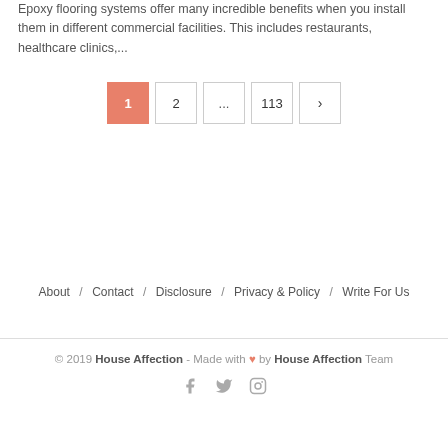Epoxy flooring systems offer many incredible benefits when you install them in different commercial facilities. This includes restaurants, healthcare clinics,...
Pagination: 1 (active), 2, ..., 113, >
About / Contact / Disclosure / Privacy & Policy / Write For Us
© 2019 House Affection - Made with ♥ by House Affection Team
Social icons: Facebook, Twitter, Instagram